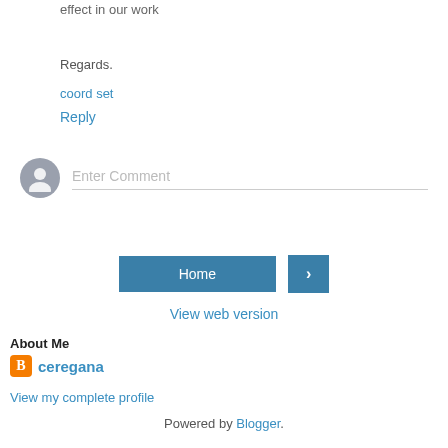effect in our work
Regards.
coord set
Reply
Enter Comment
Home
>
View web version
About Me
ceregana
View my complete profile
Powered by Blogger.